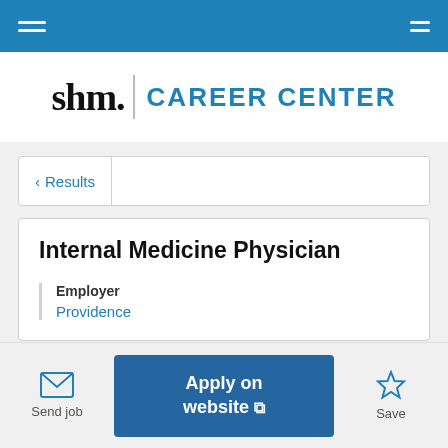SHM Career Center
< Results
Internal Medicine Physician
Employer
Providence
Send job
Apply on website
Save